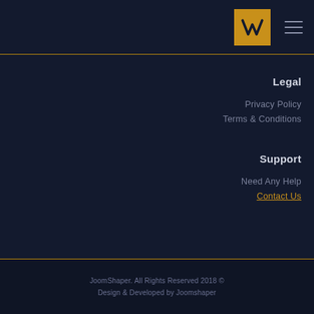Talk to us
[Figure (logo): W logo in gold square with hamburger menu icon]
Legal
Privacy Policy
Terms & Conditions
Support
Need Any Help
Contact Us
JoomShaper. All Rights Reserved 2018 © Design & Developed by Joomshaper